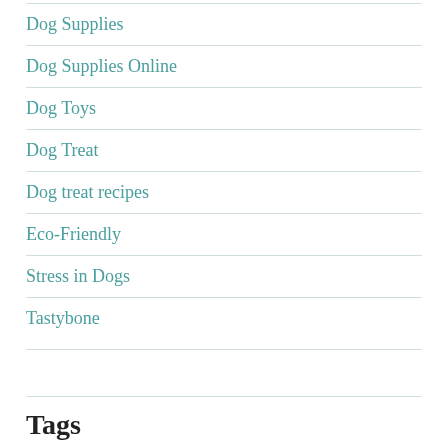Dog Supplies
Dog Supplies Online
Dog Toys
Dog Treat
Dog treat recipes
Eco-Friendly
Stress in Dogs
Tastybone
Tags